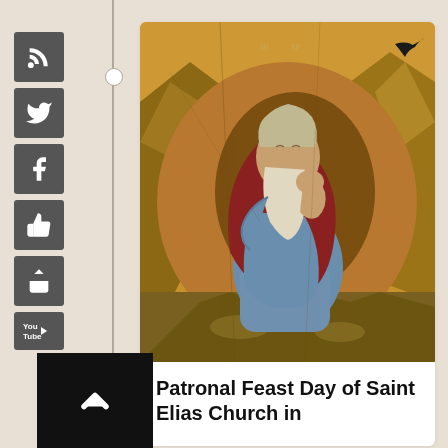[Figure (illustration): Orthodox icon painting of Prophet Elijah seated in a cave or rocky wilderness, wearing blue and red robes, resting his head on his hand in a contemplative pose, with mountainous landscape background in gold and earth tones]
Patronal Feast Day of Saint Elias Church in